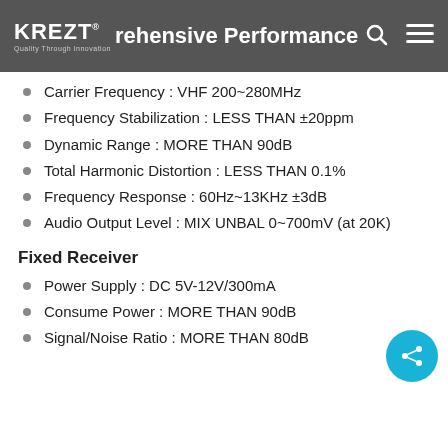KREZT® rehensive Performance
Carrier Frequency : VHF 200~280MHz
Frequency Stabilization : LESS THAN ±20ppm
Dynamic Range : MORE THAN 90dB
Total Harmonic Distortion : LESS THAN 0.1%
Frequency Response : 60Hz~13KHz ±3dB
Audio Output Level : MIX UNBAL 0~700mV (at 20K)
Fixed Receiver
Power Supply : DC 5V-12V/300mA
Consume Power : MORE THAN 90dB
Signal/Noise Ratio : MORE THAN 80dB